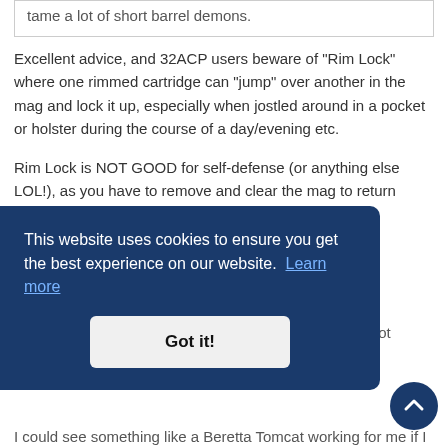tame a lot of short barrel demons.
Excellent advice, and 32ACP users beware of "Rim Lock" where one rimmed cartridge can "jump" over another in the mag and lock it up, especially when jostled around in a pocket or holster during the course of a day/evening etc.
Rim Lock is NOT GOOD for self-defense (or anything else LOL!), as you have to remove and clear the mag to return functionality.
Best to use the longest OAL ammo you can etc...
This website uses cookies to ensure you get the best experience on our website. Learn more
Got it!
...out ...shoot
I could see something like a Beretta Tomcat working for me if I